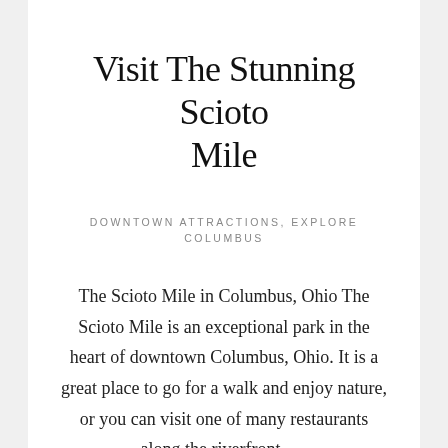Visit The Stunning Scioto Mile
DOWNTOWN ATTRACTIONS, EXPLORE COLUMBUS
The Scioto Mile in Columbus, Ohio The Scioto Mile is an exceptional park in the heart of downtown Columbus, Ohio. It is a great place to go for a walk and enjoy nature, or you can visit one of many restaurants along the riverfront. …